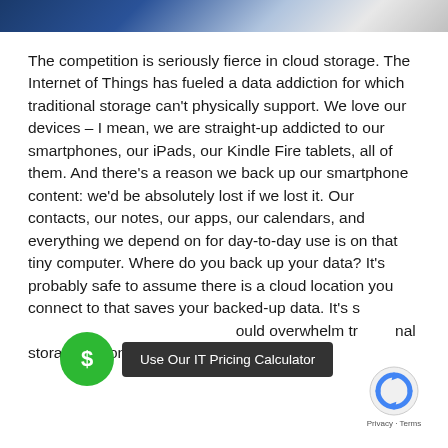[Figure (illustration): Decorative blue and silver banner image at the top of the page]
The competition is seriously fierce in cloud storage. The Internet of Things has fueled a data addiction for which traditional storage can't physically support. We love our devices – I mean, we are straight-up addicted to our smartphones, our iPads, our Kindle Fire tablets, all of them. And there's a reason we back up our smartphone content: we'd be absolutely lost if we lost it. Our contacts, our notes, our apps, our calendars, and everything we depend on for day-to-day use is on that tiny computer. Where do you back up your data? It's probably safe to assume there is a cloud location you connect to that saves your backed-up data. It's safe to assume that amount of data would overwhelm traditional storage options.